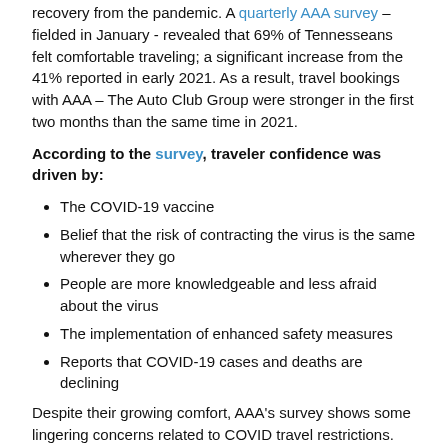recovery from the pandemic. A quarterly AAA survey – fielded in January - revealed that 69% of Tennesseans felt comfortable traveling; a significant increase from the 41% reported in early 2021. As a result, travel bookings with AAA – The Auto Club Group were stronger in the first two months than the same time in 2021.
According to the survey, traveler confidence was driven by:
The COVID-19 vaccine
Belief that the risk of contracting the virus is the same wherever they go
People are more knowledgeable and less afraid about the virus
The implementation of enhanced safety measures
Reports that COVID-19 cases and deaths are declining
Despite their growing comfort, AAA's survey shows some lingering concerns related to COVID travel restrictions. Thirty-one percent of respondents say it's challenging to understand the COVID-related requirements for international travel. As a result, it's affecting their willingness or ability to plan a trip.
“There’s that segment of people who really want to go, but are hesitant because they’re unclear about how COVID requirements may impact their trip,” Haas said. “For anyone who has those